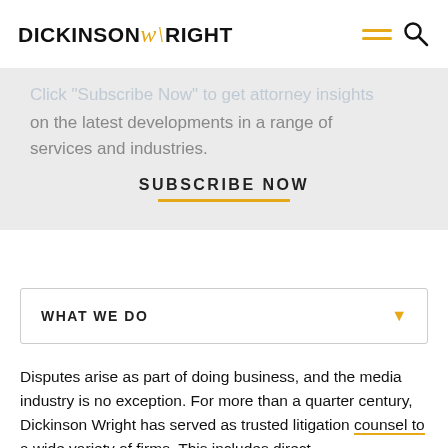Dickinson Wright
alerts?
Click "Subscribe Now" to get attorney insights on the latest developments in a range of services and industries.
SUBSCRIBE NOW
WHAT WE DO
Disputes arise as part of doing business, and the media industry is no exception. For more than a quarter century, Dickinson Wright has served as trusted litigation counsel to a wide variety of firms. This includes direct...